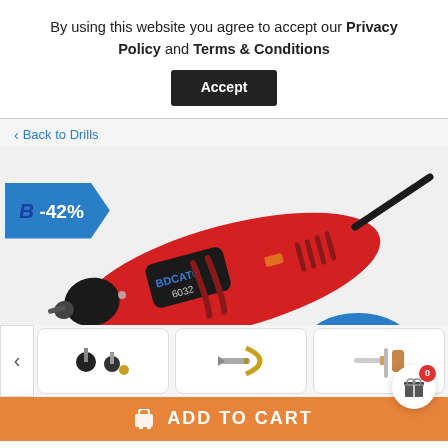By using this website you agree to accept our Privacy Policy and Terms & Conditions
Accept
< Back to Drills
[Figure (photo): Red rotary drill tool (BDCAT 6032) with black power cord, shown at angle. Blue discount badge showing -42% and blue oval badge showing 122pcs.]
ADD TO CART